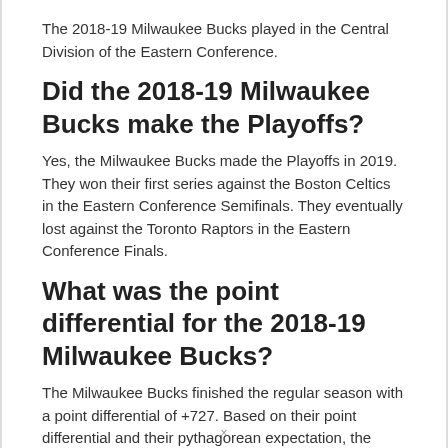The 2018-19 Milwaukee Bucks played in the Central Division of the Eastern Conference.
Did the 2018-19 Milwaukee Bucks make the Playoffs?
Yes, the Milwaukee Bucks made the Playoffs in 2019. They won their first series against the Boston Celtics in the Eastern Conference Semifinals. They eventually lost against the Toronto Raptors in the Eastern Conference Finals.
What was the point differential for the 2018-19 Milwaukee Bucks?
The Milwaukee Bucks finished the regular season with a point differential of +727. Based on their point differential and their pythagorean expectation, the Bucks could have been expected to have about 61.3 wins, or a 61-21 record in the regular season.
×